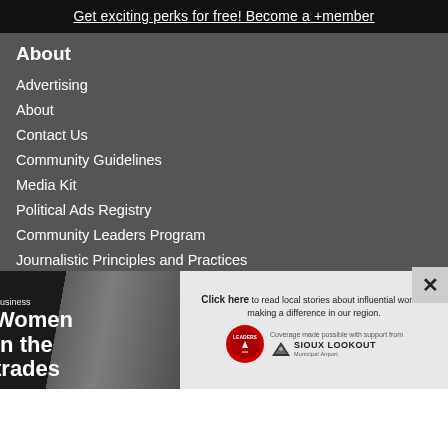Get exciting perks for free! Become a +member
About
Advertising
About
Contact Us
Community Guidelines
Media Kit
Political Ads Registry
Community Leaders Program
Journalistic Principles and Practices
Contest Rules
Privacy Policy
Terms of Service
Visit our network of sites:
[Figure (infographic): Advertisement banner for Business Women in the trades feature, with Leaders badge and Sioux Lookout Municipal Airport sponsor logo. Click here to read local stories about influential women making a difference in our region. Coverage made possible with support from Sioux Lookout Municipal Airport.]